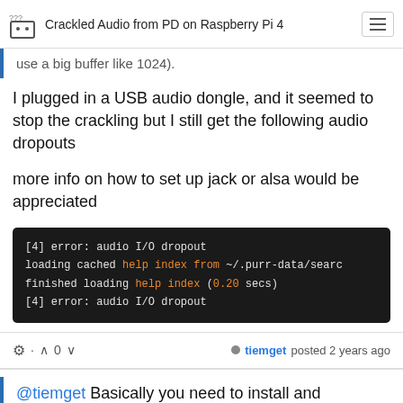Crackled Audio from PD on Raspberry Pi 4
use a big buffer like 1024).
I plugged in a USB audio dongle, and it seemed to stop the crackling but I still get the following audio dropouts
more info on how to set up jack or alsa would be appreciated
[Figure (screenshot): Terminal output showing: [4] error: audio I/O dropout / loading cached help index from ~/.purr-data/search / finished loading help index (0.20 secs) / [4] error: audio I/O dropout]
tiemget posted 2 years ago
@tiemget Basically you need to install and